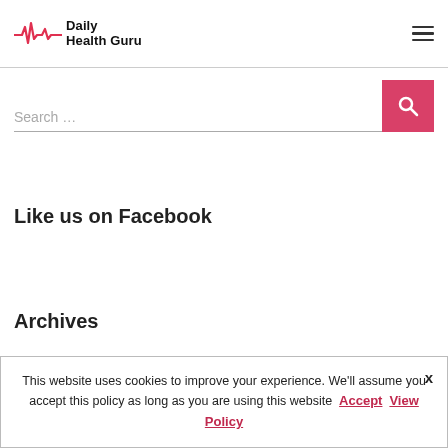Daily Health Guru
Search …
Like us on Facebook
Archives
This website uses cookies to improve your experience. We'll assume you accept this policy as long as you are using this website Accept View Policy